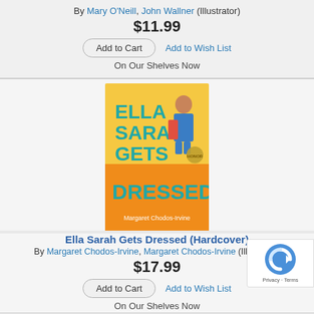By Mary O'Neill, John Wallner (Illustrator)
$11.99
Add to Cart
Add to Wish List
On Our Shelves Now
[Figure (photo): Book cover of Ella Sarah Gets Dressed by Margaret Chodos-Irvine, showing a girl in colorful clothes on an orange and yellow background]
Ella Sarah Gets Dressed (Hardcover)
By Margaret Chodos-Irvine, Margaret Chodos-Irvine (Illustrator)
$17.99
Add to Cart
Add to Wish List
On Our Shelves Now
[Figure (photo): Partial view of another book cover at the bottom of the page, showing the word COLOR in red]
[Figure (other): reCAPTCHA Privacy Terms badge in bottom right corner]